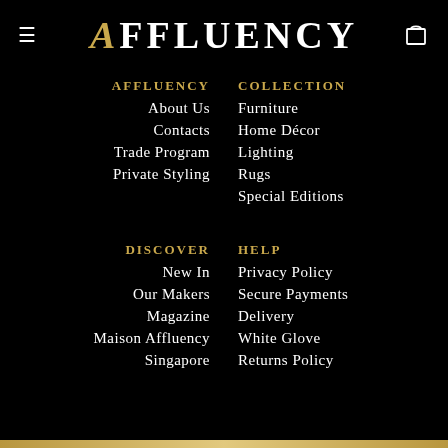AFFLUENCY
AFFLUENCY
About Us
Contacts
Trade Program
Private Styling
COLLECTION
Furniture
Home Décor
Lighting
Rugs
Special Editions
DISCOVER
New In
Our Makers
Magazine
Maison Affluency
Singapore
HELP
Privacy Policy
Secure Payments
Delivery
White Glove
Returns Policy